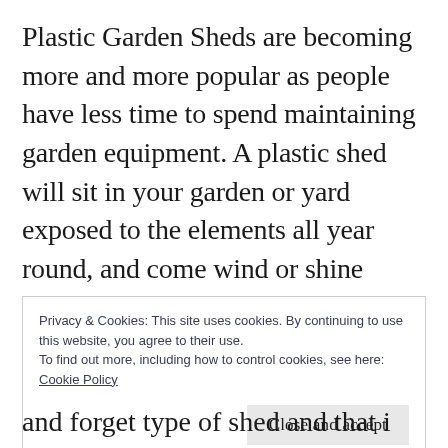Plastic Garden Sheds are becoming more and more popular as people have less time to spend maintaining garden equipment. A plastic shed will sit in your garden or yard exposed to the elements all year round, and come wind or shine they'll never need a coat of varnish or paint and never ever rot ! At the most you might want to wash it down and hose it off now and again. They really are a buy then
Privacy & Cookies: This site uses cookies. By continuing to use this website, you agree to their use.
To find out more, including how to control cookies, see here: Cookie Policy
[Close and accept]
and forget type of shed and that is why they are becoming so popular.